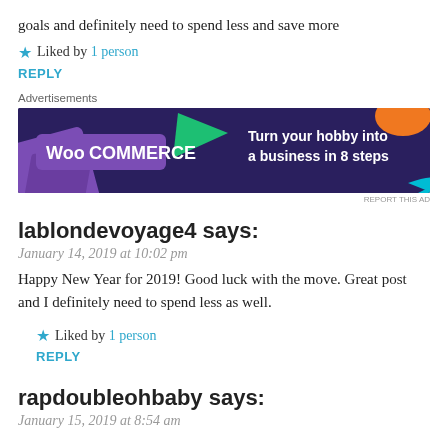goals and definitely need to spend less and save more
★ Liked by 1 person
REPLY
Advertisements
[Figure (other): WooCommerce advertisement banner: 'Turn your hobby into a business in 8 steps']
REPORT THIS AD
lablondevoyage4 says:
January 14, 2019 at 10:02 pm
Happy New Year for 2019! Good luck with the move. Great post and I definitely need to spend less as well.
★ Liked by 1 person
REPLY
rapdoubleohbaby says:
January 15, 2019 at 8:54 am